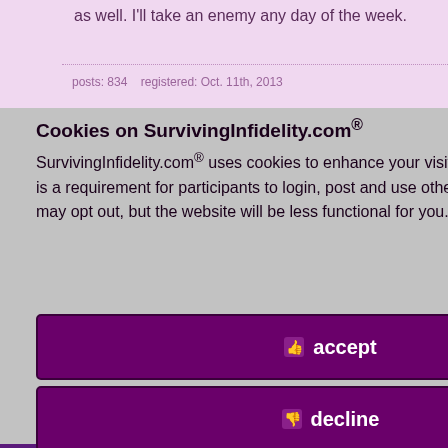as well. I'll take an enemy any day of the week.
posts: 834   registered: Oct. 11th, 2013
id 7824571
April 1st, 2017
m your church his difficult st to be a ncouragement.
e you live. You
Cookies on SurvivingInfidelity.com®
SurvivingInfidelity.com® uses cookies to enhance your visit to our website. This is a requirement for participants to login, post and use other features. Visitors may opt out, but the website will be less functional for you.
accept
decline
about cookies
Policy